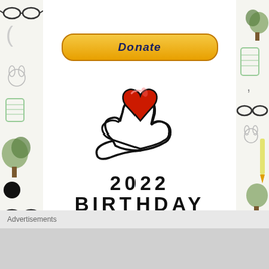[Figure (illustration): Orange/yellow rounded 'Donate' button with bold dark blue italic text]
[Figure (logo): Hand holding a red heart charity logo illustration — black outline hand cupping a red heart with gloss highlight]
2022 BIRTHDAY FUNDRAISER
Advertisements
[Figure (illustration): Decorative doodle side panels with drawings of glasses, trees, cups, and other items on light grey background]